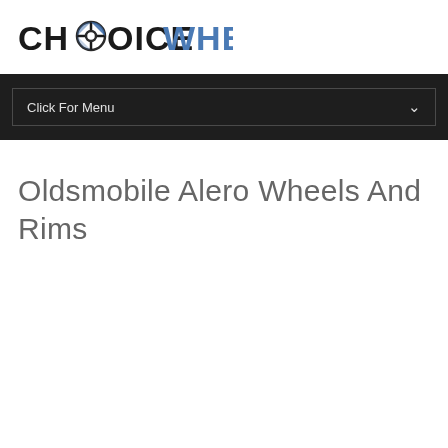[Figure (logo): Choice Wheels logo with stylized wheel icon between CH and OICE, followed by WHEELS in blue]
Click For Menu
Oldsmobile Alero Wheels And Rims